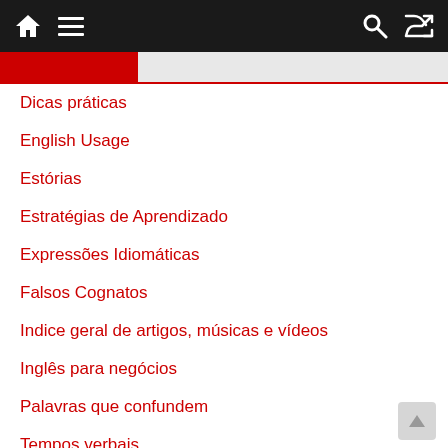Navigation bar with home, menu, search, and shuffle icons
Dicas práticas
English Usage
Estórias
Estratégias de Aprendizado
Expressões Idiomáticas
Falsos Cognatos
Indice geral de artigos, músicas e vídeos
Inglês para negócios
Palavras que confundem
Tempos verbais
Textos e Piadas em Inglês
Tópicos para conversação